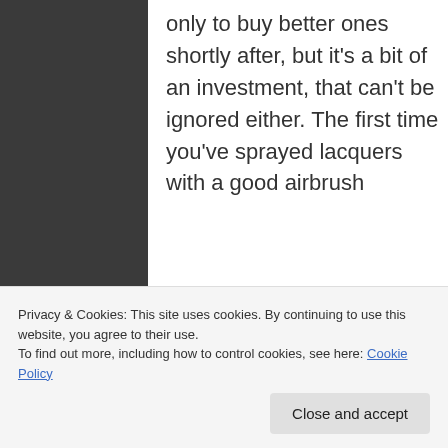only to buy better ones shortly after, but it's a bit of an investment, that can't be ignored either. The first time you've sprayed lacquers with a good airbrush
I wish you all
Privacy & Cookies: This site uses cookies. By continuing to use this website, you agree to their use.
To find out more, including how to control cookies, see here: Cookie Policy